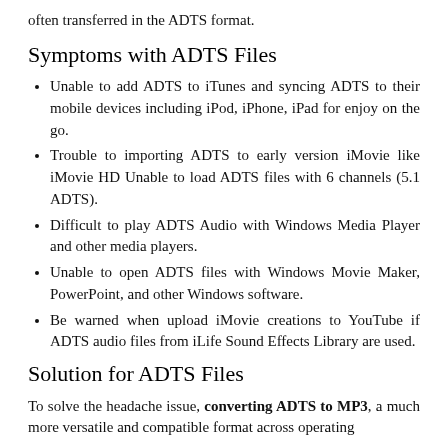often transferred in the ADTS format.
Symptoms with ADTS Files
Unable to add ADTS to iTunes and syncing ADTS to their mobile devices including iPod, iPhone, iPad for enjoy on the go.
Trouble to importing ADTS to early version iMovie like iMovie HD Unable to load ADTS files with 6 channels (5.1 ADTS).
Difficult to play ADTS Audio with Windows Media Player and other media players.
Unable to open ADTS files with Windows Movie Maker, PowerPoint, and other Windows software.
Be warned when upload iMovie creations to YouTube if ADTS audio files from iLife Sound Effects Library are used.
Solution for ADTS Files
To solve the headache issue, converting ADTS to MP3, a much more versatile and compatible format across operating